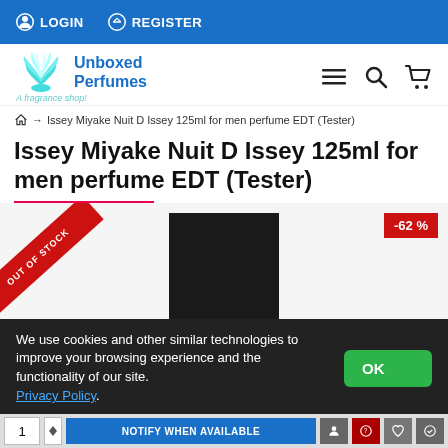LOGIN  REGISTER
[Figure (logo): Unboxed Perfumes logo with lotus flower icon and tagline 'A fragrance shop!']
Home → Issey Miyake Nuit D Issey 125ml for men perfume EDT (Tester)
Issey Miyake Nuit D Issey 125ml for men perfume EDT (Tester)
[Figure (photo): Product photo of Issey Miyake Nuit D Issey perfume bottle in black box with OUT OF STOCK ribbon and -62% discount badge]
We use cookies and other similar technologies to improve your browsing experience and the functionality of our site. Privacy Policy.
NOTIFY WHEN AVAILABLE